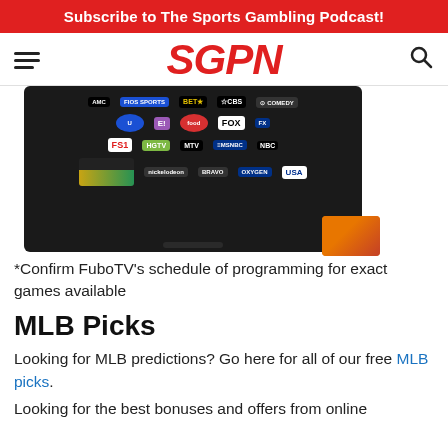Subscribe to The Sports Gambling Podcast!
[Figure (logo): SGPN logo with hamburger menu and search icon navigation bar]
[Figure (screenshot): FuboTV streaming service screenshot showing a TV screen with channel logos including AMC, BET, CBS, FOX, FS1, HGTV, MTV, MSNBC, NBC, USA, and other channels, with tablets/phones alongside showing sports content]
*Confirm FuboTV’s schedule of programming for exact games available
MLB Picks
Looking for MLB predictions? Go here for all of our free MLB picks.
Looking for the best bonuses and offers from online